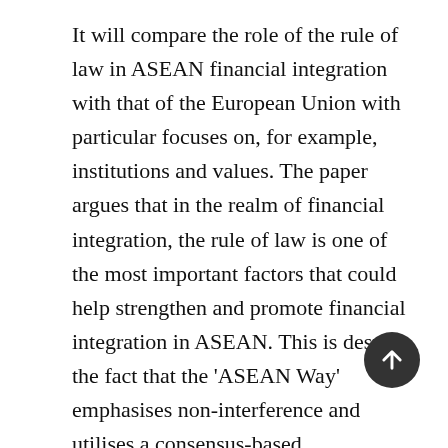It will compare the role of the rule of law in ASEAN financial integration with that of the European Union with particular focuses on, for example, institutions and values. The paper argues that in the realm of financial integration, the rule of law is one of the most important factors that could help strengthen and promote financial integration in ASEAN. This is despite the fact that the 'ASEAN Way' emphasises non-interference and utilises a consensus-based cooperation rather than formal institutions. Nevertheless, the rule of law for ASEAN financial integration should be situated in its own historical, cultural, and political contexts. In addition, in the case of ASEAN, the rule of law cannot take root if it does not come from the demand of the people in this region. For instance, a reform or creation of legal institutions should not be imposed by international financial institutions. The paper will conclude that law has a